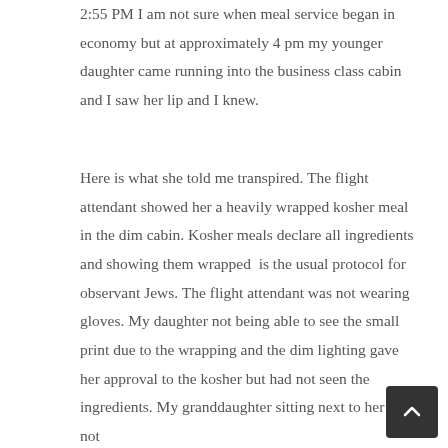2:55 PM I am not sure when meal service began in economy but at approximately 4 pm my younger daughter came running into the business class cabin and I saw her lip and I knew.
Here is what she told me transpired. The flight attendant showed her a heavily wrapped kosher meal in the dim cabin. Kosher meals declare all ingredients and showing them wrapped  is the usual protocol for observant Jews. The flight attendant was not wearing gloves. My daughter not being able to see the small print due to the wrapping and the dim lighting gave her approval to the kosher but had not seen the ingredients. My granddaughter sitting next to her did not